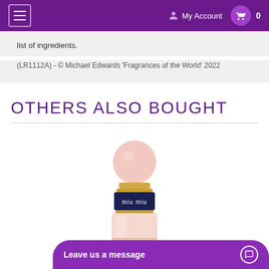My Account  0
list of ingredients.
(LR1112A) - © Michael Edwards 'Fragrances of the World' 2022
OTHERS ALSO BOUGHT
[Figure (photo): Miu Miu perfume bottle with round pink cap and dark navy collar band with 'miu miu' text, pink glass bottle body]
Leave us a message